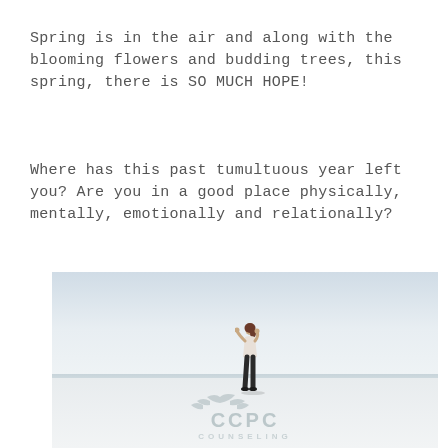Spring is in the air and along with the blooming flowers and budding trees, this spring, there is SO MUCH HOPE!
Where has this past tumultuous year left you? Are you in a good place physically, mentally, emotionally and relationally?
[Figure (photo): A person standing alone in a wide open minimalist landscape with a pale blue-grey sky and white ground, with a CCPC counseling watermark logo at the bottom.]